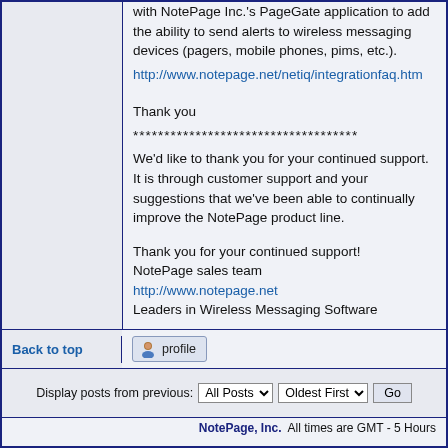with NotePage Inc.'s PageGate application to add the ability to send alerts to wireless messaging devices (pagers, mobile phones, pims, etc.). http://www.notepage.net/netiq/integrationfaq.htm
Thank you
************************************
We'd like to thank you for your continued support. It is through customer support and your suggestions that we've been able to continually improve the NotePage product line.

Thank you for your continued support!
NotePage sales team
http://www.notepage.net
Leaders in Wireless Messaging Software
Back to top
[Figure (screenshot): Profile button with user icon]
Display posts from previous: All Posts Oldest First Go
NotePage, Inc. All times are GMT - 5 Hours